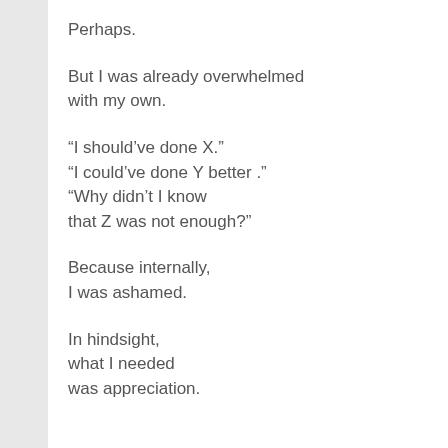Perhaps.
But I was already overwhelmed with my own.
“I should’ve done X.” “I could’ve done Y better .” “Why didn’t I know that Z was not enough?”
Because internally, I was ashamed.
In hindsight, what I needed was appreciation.